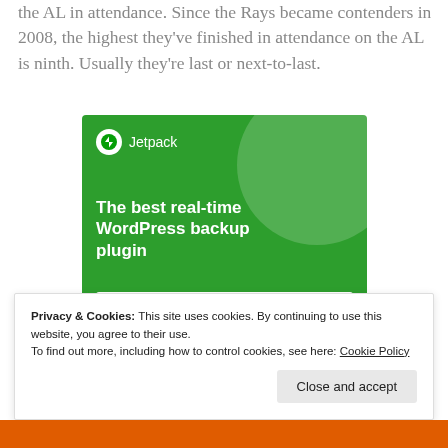the AL in attendance. Since the Rays became contenders in 2008, the highest they've finished in attendance on the AL is ninth. Usually they're last or next-to-last.
[Figure (screenshot): Jetpack advertisement banner with green background, Jetpack logo at top-left, large circle decoration at top-right, headline 'The best real-time WordPress backup plugin', and a white button 'Back up your site']
Privacy & Cookies: This site uses cookies. By continuing to use this website, you agree to their use. To find out more, including how to control cookies, see here: Cookie Policy
Close and accept